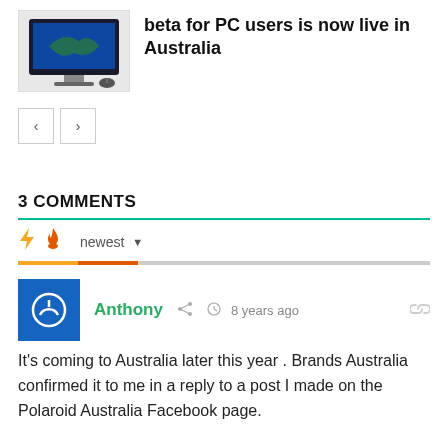[Figure (screenshot): Article thumbnail showing a desktop computer monitor with a game or app on screen]
beta for PC users is now live in Australia
[Figure (other): Navigation previous and next arrow buttons]
3 COMMENTS
newest
[Figure (other): User avatar: blue square with white power button icon]
Anthony  8 years ago
It's coming to Australia later this year . Brands Australia confirmed it to me in a reply to a post I made on the Polaroid Australia Facebook page.